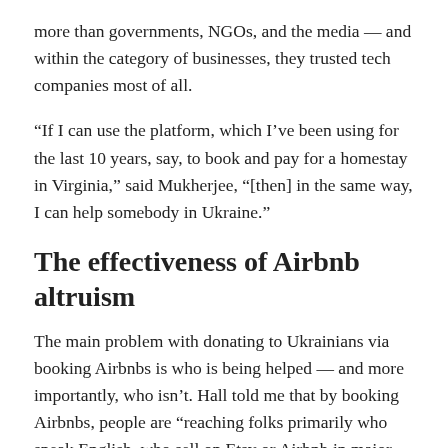more than governments, NGOs, and the media — and within the category of businesses, they trusted tech companies most of all.
“If I can use the platform, which I’ve been using for the last 10 years, say, to book and pay for a homestay in Virginia,” said Mukherjee, “[then] in the same way, I can help somebody in Ukraine.”
The effectiveness of Airbnb altruism
The main problem with donating to Ukrainians via booking Airbnbs is who is being helped — and more importantly, who isn’t. Hall told me that by booking Airbnbs, people are “reaching folks primarily who speak English, who sell on Etsy or Airbnb in major cities.” As an active war zone, everyone in Ukraine is in some kind of need, but providing aid via Airbnbs is “not a system that’s designed to reach the most vulnerable or the people